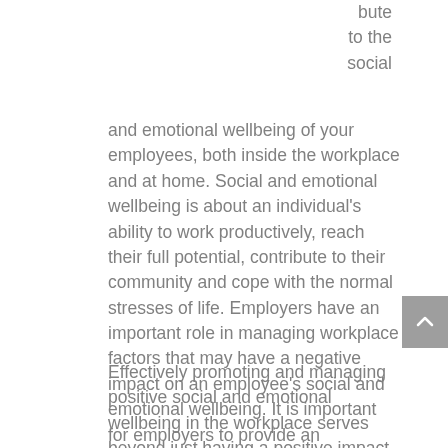bute to the social and emotional wellbeing of your employees, both inside the workplace and at home. Social and emotional wellbeing is about an individual's ability to work productively, reach their full potential, contribute to their community and cope with the normal stresses of life. Employers have an important role in managing workplace factors that may have a negative impact on an employee's social and emotional wellbeing. It is important for employers to provide an environment and culture that is supportive of their employee's overall wellbeing.
Effectively promoting and managing positive social and emotional wellbeing in the workplace serves beyond just having a positive impact on employees, it also benefits organisations through reducing absenteeism, presenteeism and in increasing